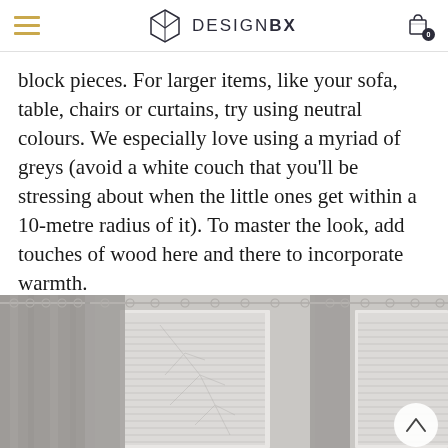DESIGNBX
block pieces. For larger items, like your sofa, table, chairs or curtains, try using neutral colours. We especially love using a myriad of greys (avoid a white couch that you’ll be stressing about when the little ones get within a 10-metre radius of it). To master the look, add touches of wood here and there to incorporate warmth.
[Figure (photo): Interior photo showing grey curtains hanging from curtain rods over windows with white venetian blinds, in a neutral-toned room.]